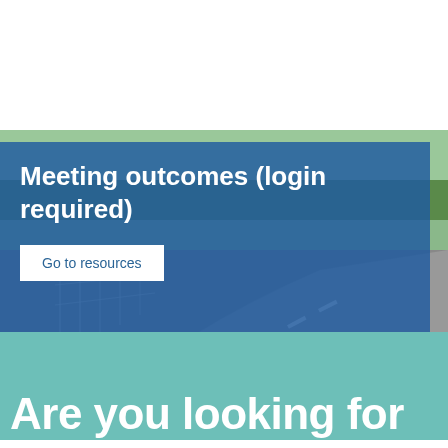[Figure (screenshot): A website card showing a road/highway photograph with a blue semi-transparent overlay. The card contains a bold white heading 'Meeting outcomes (login required)' and a white button labeled 'Go to resources'.]
Are you looking for